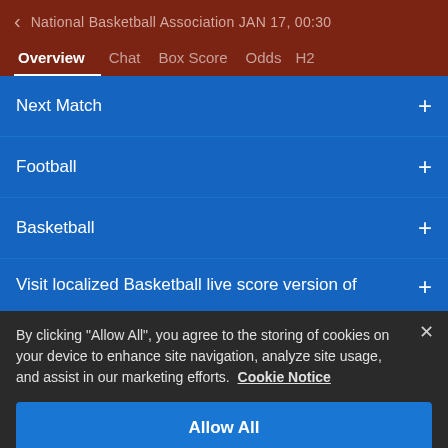National Basketball Association JAN 17, 00:30
Overview | Chat | Box Score | Odds | H2
Next Match
Football
Basketball
Visit localized Basketball live score version of
By clicking "Allow All", you agree to the storing of cookies on your device to enhance site navigation, analyze site usage, and assist in our marketing efforts. Cookie Notice
Allow All
Customize Settings